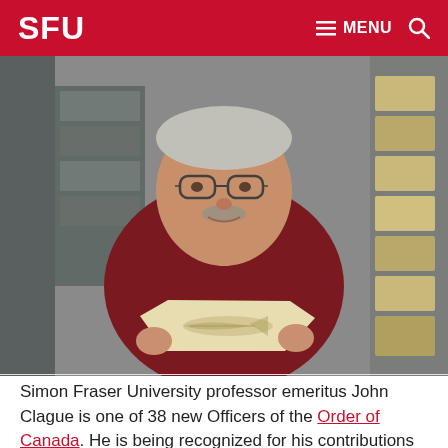SFU  ☰ MENU  🔍
[Figure (photo): Simon Fraser University professor emeritus John Clague holding a flat rock slab with a fish fossil impression, standing in what appears to be a museum or laboratory storage area with shelves of boxes in the background. He is wearing a dark red/maroon sweater and glasses.]
Simon Fraser University professor emeritus John Clague is one of 38 new Officers of the Order of Canada. He is being recognized for his contributions to understanding...